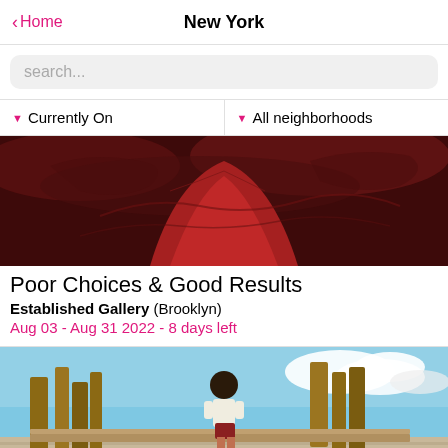Home  New York
search...
▼ Currently On   ▼ All neighborhoods
[Figure (photo): Painting with dark red swirling landscape tones, abstract red mountain or figure shape]
Poor Choices & Good Results
Established Gallery (Brooklyn)
Aug 03 - Aug 31 2022 - 8 days left
[Figure (photo): Painting of a child standing on wooden planks/fence looking out at a desert-like landscape under blue sky with clouds]